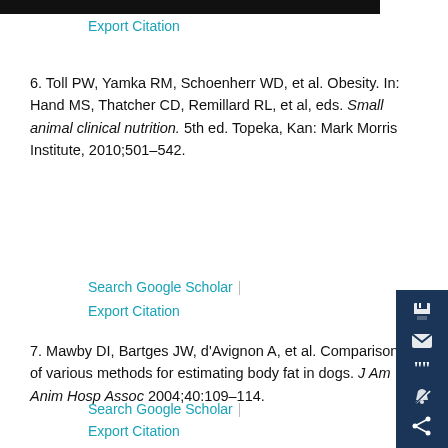Export Citation
6. Toll PW, Yamka RM, Schoenherr WD, et al. Obesity. In: Hand MS, Thatcher CD, Remillard RL, et al, eds. Small animal clinical nutrition. 5th ed. Topeka, Kan: Mark Morris Institute, 2010;501–542.
Search Google Scholar | Export Citation
7. Mawby DI, Bartges JW, d'Avignon A, et al. Comparison of various methods for estimating body fat in dogs. J Am Anim Hosp Assoc 2004;40:109–114.
Search Google Scholar | Export Citation